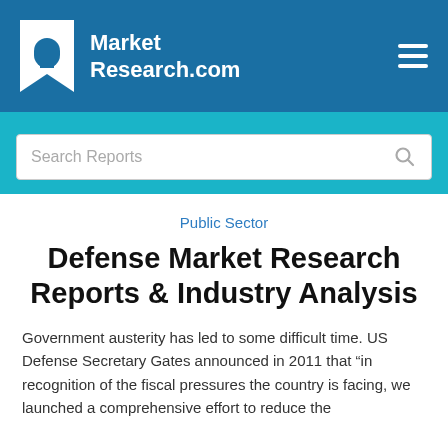MarketResearch.com
Search Reports
Public Sector
Defense Market Research Reports & Industry Analysis
Government austerity has led to some difficult time. US Defense Secretary Gates announced in 2011 that “in recognition of the fiscal pressures the country is facing, we launched a comprehensive effort to reduce the